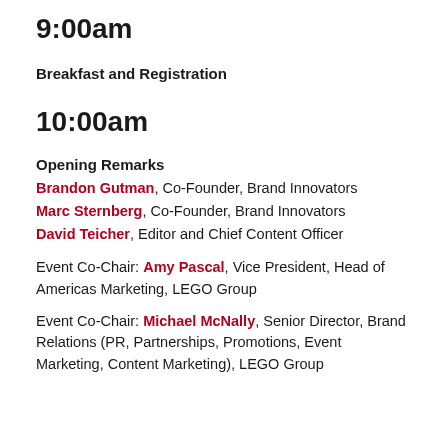9:00am
Breakfast and Registration
10:00am
Opening Remarks
Brandon Gutman, Co-Founder, Brand Innovators
Marc Sternberg, Co-Founder, Brand Innovators
David Teicher, Editor and Chief Content Officer
Event Co-Chair: Amy Pascal, Vice President, Head of Americas Marketing, LEGO Group
Event Co-Chair: Michael McNally, Senior Director, Brand Relations (PR, Partnerships, Promotions, Event Marketing, Content Marketing), LEGO Group